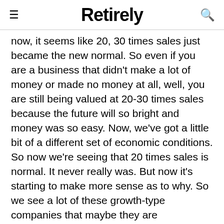Retirely
now, it seems like 20, 30 times sales just became the new normal. So even if you are a business that didn't make a lot of money or made no money at all, well, you are still being valued at 20-30 times sales because the future will so bright and money was so easy. Now, we've got a little bit of a different set of economic conditions. So now we're seeing that 20 times sales is normal. It never really was. But now it's starting to make more sense as to why. So we see a lot of these growth-type companies that maybe they are
We use cookies on our website to give you the most relevant experience by remembering your preferences and repeat visits. By clicking “Accept”, you consent to the use of ALL the cookies. Do not sell my personal information.